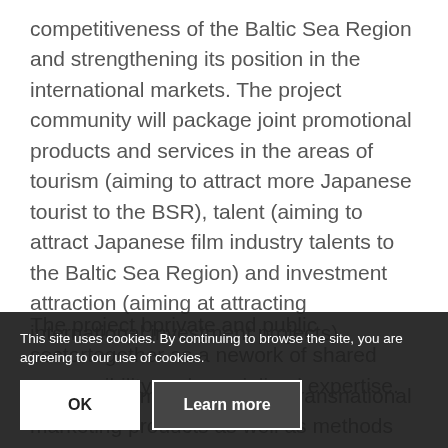competitiveness of the Baltic Sea Region and strengthening its position in the international markets. The project community will package joint promotional products and services in the areas of tourism (aiming to attract more Japanese tourist to the BSR), talent (aiming to attract Japanese film industry talents to the Baltic Sea Region) and investment attraction (aiming at attracting international investment projects).
BaltMet Promo will produce transnational marketing products as well as methods for
The project b... private and public sector... together as a network of shared responsibility and specialized expertise. The
This site uses cookies. By continuing to browse the site, you are agreeing to our use of cookies.